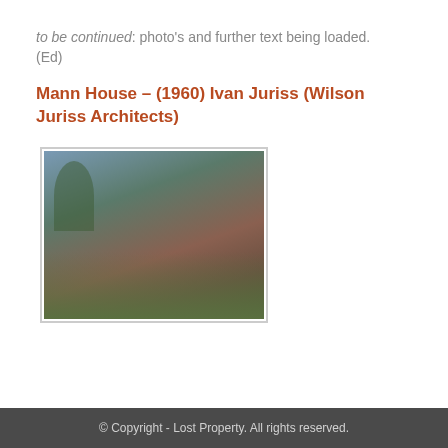to be continued: photo's and further text being loaded. (Ed)
Mann House – (1960) Ivan Juriss (Wilson Juriss Architects)
[Figure (photo): Exterior photograph of Mann House showing a low-profile modernist building with dark brick/masonry walls, flat or low-pitched roof, green lawn in foreground, palm tree and other trees visible in background, overcast sky. A figure appears to be standing near the entrance.]
© Copyright - Lost Property. All rights reserved.